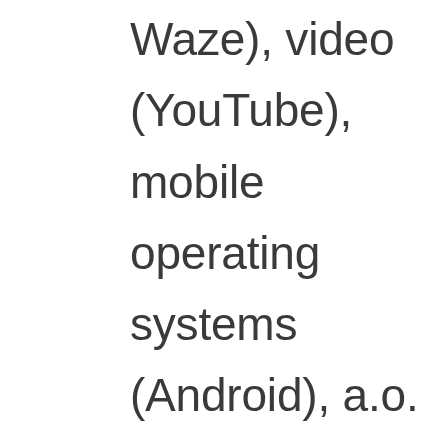Waze), video (YouTube), mobile operating systems (Android), a.o. and Facebook (and thus Instagram + Whatsapp) violates user privacy, spreads disinformation, and helps incite genocide while basically using their over 2 billion